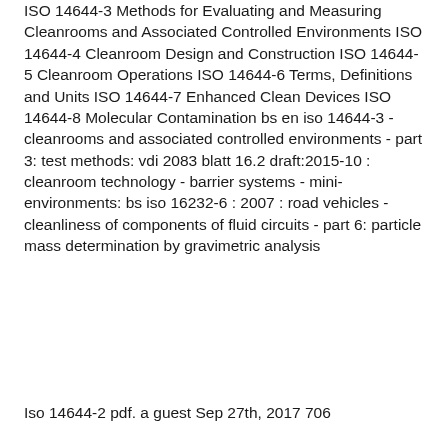ISO 14644-3 Methods for Evaluating and Measuring Cleanrooms and Associated Controlled Environments ISO 14644-4 Cleanroom Design and Construction ISO 14644-5 Cleanroom Operations ISO 14644-6 Terms, Definitions and Units ISO 14644-7 Enhanced Clean Devices ISO 14644-8 Molecular Contamination bs en iso 14644-3 - cleanrooms and associated controlled environments - part 3: test methods: vdi 2083 blatt 16.2 draft:2015-10 : cleanroom technology - barrier systems - mini-environments: bs iso 16232-6 : 2007 : road vehicles - cleanliness of components of fluid circuits - part 6: particle mass determination by gravimetric analysis
Iso 14644-2 pdf. a guest Sep 27th, 2017 706